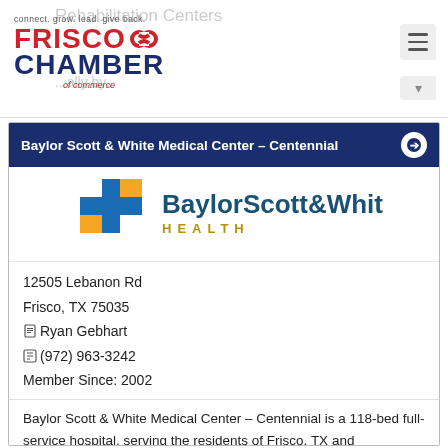Frisco Chamber of Commerce - connect. grow. lead. give back.
Rehabilitation Centers
Baylor Scott & White Medical Center - Centennial
[Figure (logo): Baylor Scott & White Health logo with blue and yellow cross]
12505 Lebanon Rd
Frisco, TX 75035
Ryan Gebhart
(972) 963-3242
Member Since: 2002
Baylor Scott & White Medical Center – Centennial is a 118-bed full-service hospital, serving the residents of Frisco, TX and surrounding communities.
Learn More | Visit Site | Show on Map